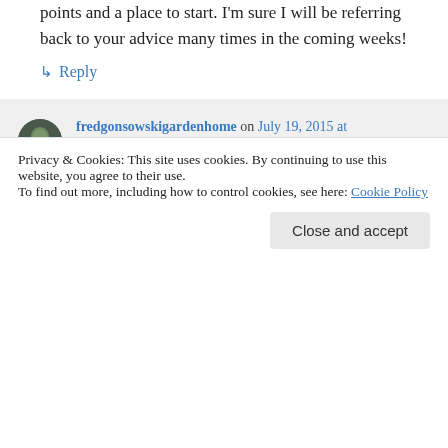points and a place to start. I'm sure I will be referring back to your advice many times in the coming weeks!
↳ Reply
fredgonsowskigardenhome on July 19, 2015 at 8:50 PM
Hi there Amanda, thanks for your comment. I say you got it!, as my premise in writing this blog is to give people some
Privacy & Cookies: This site uses cookies. By continuing to use this website, you agree to their use.
To find out more, including how to control cookies, see here: Cookie Policy
Close and accept